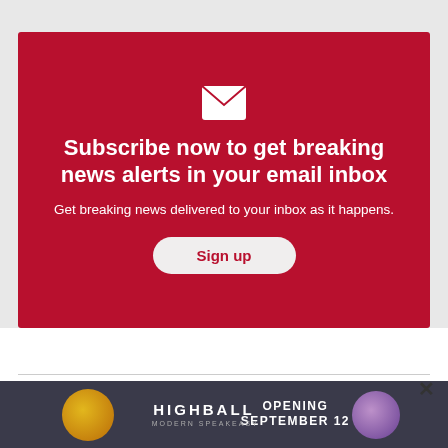[Figure (infographic): Red subscription banner with envelope icon, headline text 'Subscribe now to get breaking news alerts in your email inbox', subtext 'Get breaking news delivered to your inbox as it happens.', and a 'Sign up' button.]
[Figure (infographic): Advertisement banner for 'Highball Modern Speakeasy' with text 'OPENING SEPTEMBER 12' on a dark background with decorative orbs.]